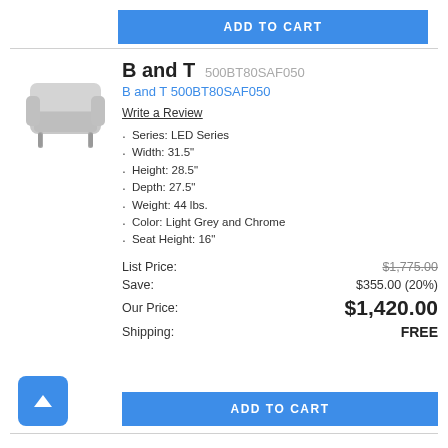ADD TO CART
[Figure (photo): Light grey armchair with chrome legs, product photo on white background]
B and T 500BT80SAF050
B and T 500BT80SAF050
Write a Review
Series: LED Series
Width: 31.5"
Height: 28.5"
Depth: 27.5"
Weight: 44 lbs.
Color: Light Grey and Chrome
Seat Height: 16"
|  |  |
| --- | --- |
| List Price: | $1,775.00 |
| Save: | $355.00 (20%) |
| Our Price: | $1,420.00 |
| Shipping: | FREE |
ADD TO CART